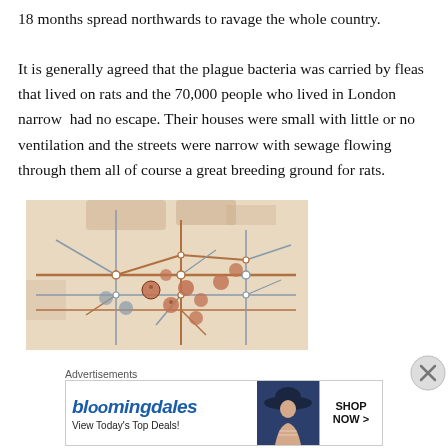18 months spread northwards to ravage the whole country.

It is generally agreed that the plague bacteria was carried by fleas that lived on rats and the 70,000 people who lived in London narrow  had no escape. Their houses were small with little or no ventilation and the streets were narrow with sewage flowing through them all of course a great breeding ground for rats.
[Figure (map): A stylized historical map overlay on a London Underground tube map, showing plague spread locations marked with portrait icons in a reddish-brown color scheme.]
Advertisements
[Figure (other): Bloomingdale's advertisement banner: 'bloomingdales / View Today's Top Deals!' with an image of a woman in a hat and a 'SHOP NOW >' button.]